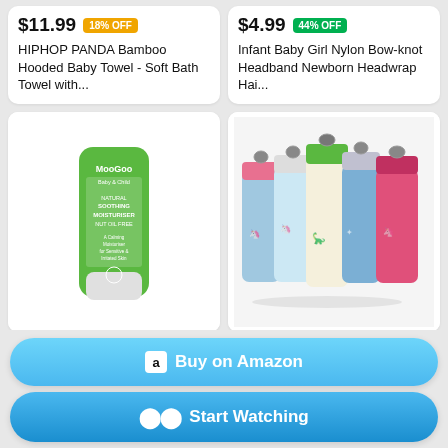$11.99 18% OFF
HIPHOP PANDA Bamboo Hooded Baby Towel - Soft Bath Towel with...
$4.99 44% OFF
Infant Baby Girl Nylon Bow-knot Headband Newborn Headwrap Hai...
[Figure (photo): MooGoo Natural Soothing Moisturiser Nut Oil Free product tube in green packaging]
[Figure (photo): Multiple colorful children's water bottles with carabiner clips, featuring unicorn and dinosaur designs]
Buy on Amazon
Start Watching